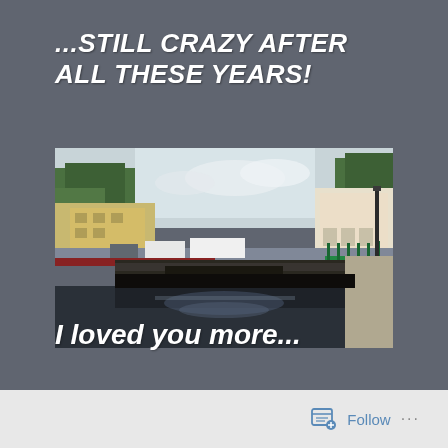...STILL CRAZY AFTER ALL THESE YEARS!
[Figure (photo): Street scene with a canal/river in the foreground, a bridge in the middle, trees, buildings and vehicles in the background. Dark water reflects clouds.]
I loved you more...
Follow ...